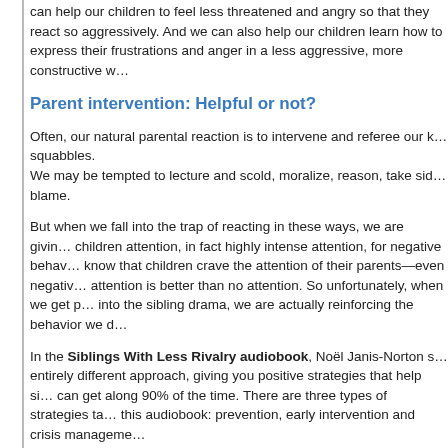can help our children to feel less threatened and angry so that they react so aggressively. And we can also help our children learn how to express their frustrations and anger in a less aggressive, more constructive w…
Parent intervention: Helpful or not?
Often, our natural parental reaction is to intervene and referee our k… squabbles.
We may be tempted to lecture and scold, moralize, reason, take sid… blame.
But when we fall into the trap of reacting in these ways, we are givin… children attention, in fact highly intense attention, for negative behav… know that children crave the attention of their parents—even negativ… attention is better than no attention. So unfortunately, when we get p… into the sibling drama, we are actually reinforcing the behavior we d…
In the Siblings With Less Rivalry audiobook, Noël Janis-Norton s… entirely different approach, giving you positive strategies that help si… can get along 90% of the time. There are three types of strategies ta… this audiobook: prevention, early intervention and crisis manageme…
Prevention is all about what you can do to head off problems. It's about strategies you can use when your children are playing peacefully or simply leaving each other alone.
Early intervention covers what parents can do to nip potential…